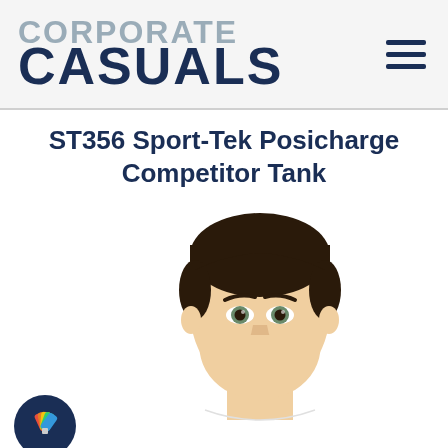CORPORATE CASUALS
ST356 Sport-Tek Posicharge Competitor Tank
[Figure (photo): Young male model wearing a white tank top, photographed from chest up against a white background, with dark hair and light eyes. Four dark blue circular icon buttons appear along the left side: color swatch icon, image upload icon, settings/gear icon, and full-screen/expand icon. A fifth partially visible icon appears at the bottom.]